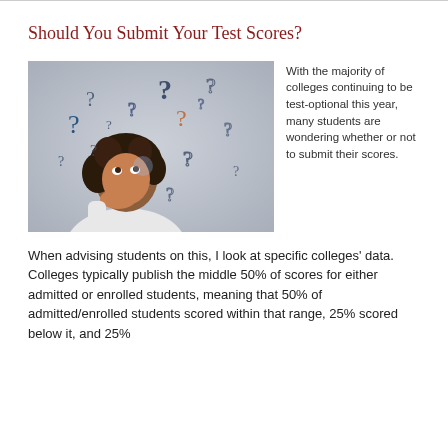Should You Submit Your Test Scores?
[Figure (photo): A young woman with curly hair resting her chin on her hands, looking upward, surrounded by floating question marks of various styles and colors on a light background.]
With the majority of colleges continuing to be test-optional this year, many students are wondering whether or not to submit their scores. When advising students on this, I look at specific colleges' data. Colleges typically publish the middle 50% of scores for either admitted or enrolled students, meaning that 50% of admitted/enrolled students scored within that range, 25% scored below it, and 25%